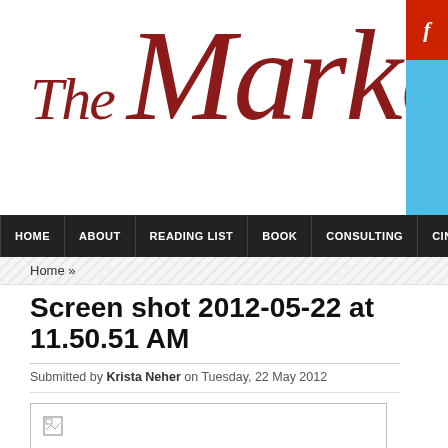The Markete...
HOME | ABOUT | READING LIST | BOOK | CONSULTING | CINCINN...
Home »
Screen shot 2012-05-22 at 11.50.51 AM
Submitted by Krista Neher on Tuesday, 22 May 2012
[Figure (screenshot): Blank image placeholder with broken image icon in top-left corner, bordered rectangle]